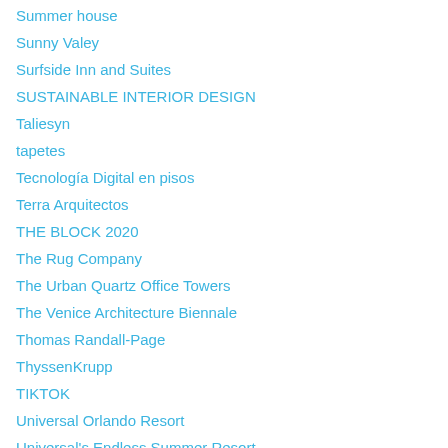Summer house
Sunny Valey
Surfside Inn and Suites
SUSTAINABLE INTERIOR DESIGN
Taliesyn
tapetes
Tecnología Digital en pisos
Terra Arquitectos
THE BLOCK 2020
The Rug Company
The Urban Quartz Office Towers
The Venice Architecture Biennale
Thomas Randall-Page
ThyssenKrupp
TIKTOK
Universal Orlando Resort
Universal's Endless Summer Resort
valenciano